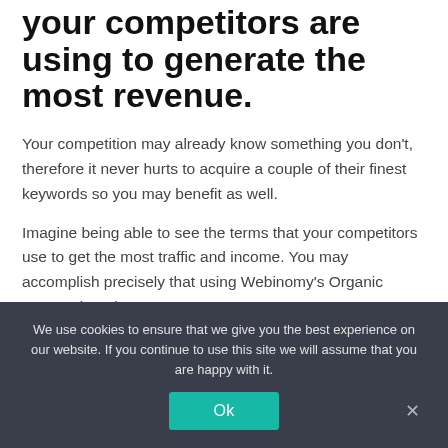your competitors are using to generate the most revenue.
Your competition may already know something you don't, therefore it never hurts to acquire a couple of their finest keywords so you may benefit as well.
Imagine being able to see the terms that your competitors use to get the most traffic and income. You may accomplish precisely that using Webinomy's Organic Research tool.
You just need to follow four simple steps under the "Positions" tab...
We use cookies to ensure that we give you the best experience on our website. If you continue to use this site we will assume that you are happy with it.